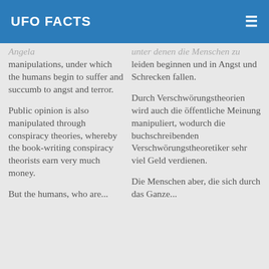UFO FACTS
manipulations, under which the humans begin to suffer and succumb to angst and terror.
unter denen die Menschen zu leiden beginnen und in Angst und Schrecken fallen.
Public opinion is also manipulated through conspiracy theories, whereby the book-writing conspiracy theorists earn very much money.
Durch Verschwörungstheorien wird auch die öffentliche Meinung manipuliert, wodurch die buchschreibenden Verschwörungstheoretiker sehr viel Geld verdienen.
But the humans, who are...
Die Menschen aber, die sich durch das Ganze...